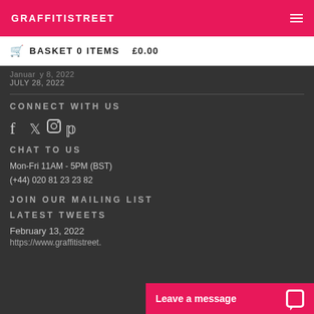GRAFFITISTREET
BASKET 0 ITEMS   £0.00
January 8, 2022
JULY 28, 2022
CONNECT WITH US
[Figure (illustration): Social media icons: Facebook, Twitter, Instagram, Pinterest]
CHAT TO US
Mon-Fri 11AM - 5PM (BST)
(+44) 020 81 23 23 82
JOIN OUR MAILING LIST
LATEST TWEETS
February 13, 2022
https://www.graffitistreet.
Leave a message